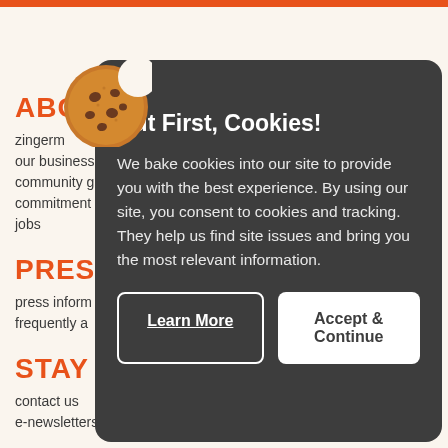ABOUT
zingerm...
our business
community g
commitment
jobs
PRESSR
press inform
frequently a
STAY C
contact us
e-newsletters
[Figure (illustration): Cookie emoji icon (brown cookie with chocolate chips)]
But First, Cookies!
We bake cookies into our site to provide you with the best experience. By using our site, you consent to cookies and tracking. They help us find site issues and bring you the most relevant information.
Learn More
Accept & Continue